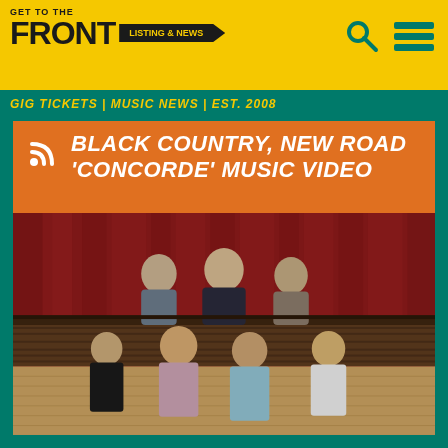GET TO THE FRONT
GIG TICKETS | MUSIC NEWS | EST. 2008
BLACK COUNTRY, NEW ROAD 'CONCORDE' MUSIC VIDEO
[Figure (photo): Band photo of Black Country, New Road — six members posed in front of red theatre curtains on a wooden stage. Three members sit on a raised platform at the back, three members are in front at floor level including two women seated on the floor.]